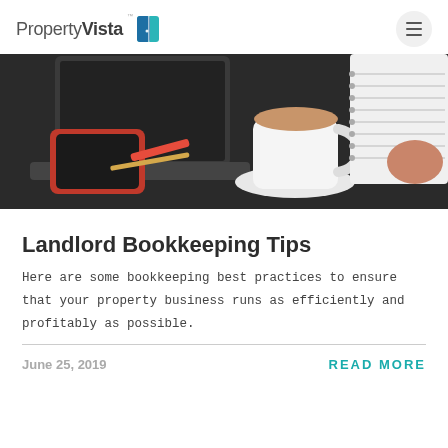PropertyVista
[Figure (photo): Overhead desk scene with laptop, smartphone with red case, cup of coffee on saucer, and notebook with someone's hand, on a dark table]
Landlord Bookkeeping Tips
Here are some bookkeeping best practices to ensure that your property business runs as efficiently and profitably as possible.
June 25, 2019
READ MORE